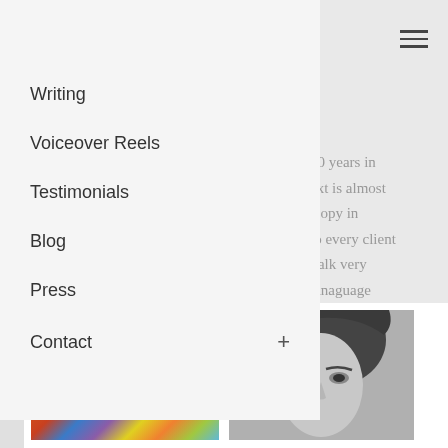[Figure (screenshot): Hamburger menu icon (three horizontal lines) in top right corner]
20 years in ext is almost copy in to every client talk very lanaguage ages so e a
Writing
Voiceover Reels
Testimonials
Blog
Press
Contact +
[Figure (photo): Colorful abstract background with white letters 'LA' overlaid]
[Figure (photo): Black and white portrait photo of a woman's face]